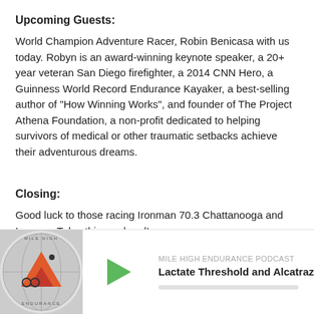Upcoming Guests:
World Champion Adventure Racer, Robin Benicasa with us today. Robyn is an award-winning keynote speaker, a 20+ year veteran San Diego firefighter, a 2014 CNN Hero, a Guinness World Record Endurance Kayaker, a best-selling author of "How Winning Works", and founder of The Project Athena Foundation, a non-profit dedicated to helping survivors of medical or other traumatic setbacks achieve their adventurous dreams.
Closing:
Good luck to those racing Ironman 70.3 Chattanooga and Ironman Tulsa this weekend!
Thanks again for listening in this week.  Please be sure to follow us @303endurance and of course go to iTunes and give us a rating and a comment.  We'd really appreciate it!
Stay tuned, train informed, and enjoy the endurance journey!
[Figure (screenshot): Mile High Endurance Podcast player widget showing logo, play button, show name 'MILE HIGH ENDURANCE PODCAST', and episode title 'Lactate Threshold and Alcatraz']